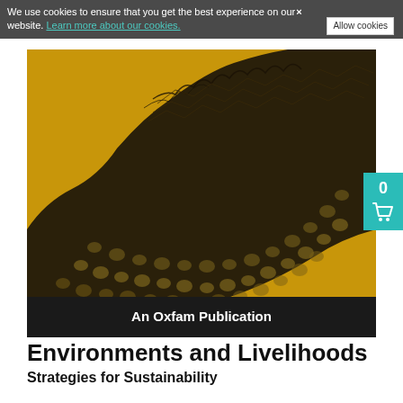We use cookies to ensure that you get the best experience on our website. Learn more about our cookies. Allow cookies ×
[Figure (illustration): Book cover of 'Environments and Livelihoods: Strategies for Sustainability', an Oxfam Publication. Dark olive/brown diagonal mass resembling a lizard's scaly back or rocky terrain set against a golden yellow background. A dark banner at the bottom reads 'An Oxfam Publication' in white bold text.]
Environments and Livelihoods
Strategies for Sustainability